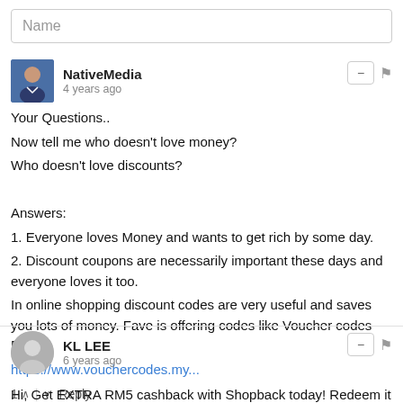Name
NativeMedia
4 years ago
Your Questions..
Now tell me who doesn't love money?
Who doesn't love discounts?

Answers:
1. Everyone loves Money and wants to get rich by some day.
2. Discount coupons are necessarily important these days and everyone loves it too.
In online shopping discount codes are very useful and saves you lots of money. Fave is offering codes like Voucher codes Fave.
https://www.vouchercodes.my...
1  ^  |  v  Reply
KL LEE
6 years ago
Hi, Get EXTRA RM5 cashback with Shopback today! Redeem it